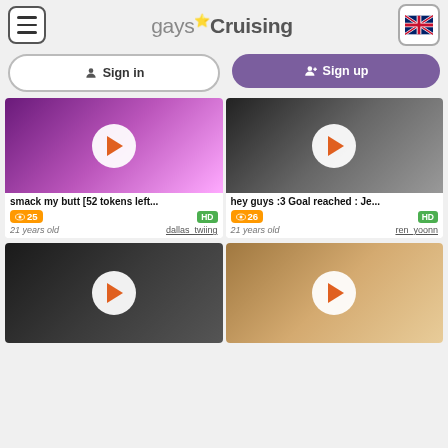gays*Cruising
Sign in
Sign up
[Figure (screenshot): Video thumbnail - purple lit person with play button, title: smack my butt [52 tokens left..., views: 25, HD, 21 years old, dallas_twiing]
[Figure (screenshot): Video thumbnail - person lifting shirt in kitchen with play button, title: hey guys :3 Goal reached : Je..., views: 26, HD, 21 years old, ren_yoonn]
[Figure (screenshot): Video thumbnail - dark skinned person, play button]
[Figure (screenshot): Video thumbnail - young man sitting, play button]